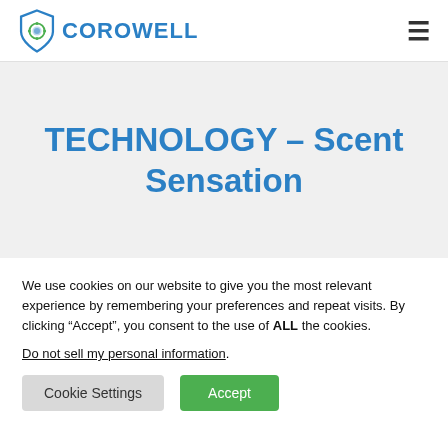[Figure (logo): Corowell logo with shield icon and text COROWELL in blue]
TECHNOLOGY – Scent Sensation
We use cookies on our website to give you the most relevant experience by remembering your preferences and repeat visits. By clicking “Accept”, you consent to the use of ALL the cookies.
Do not sell my personal information.